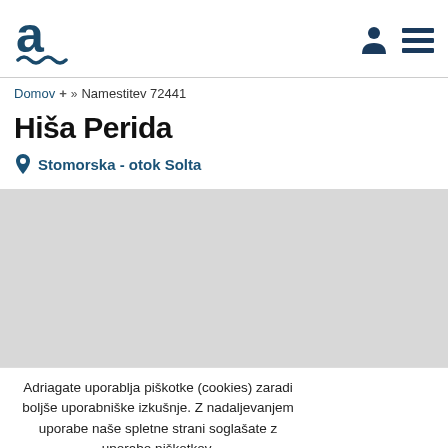[Figure (logo): Adriagate logo with letter 'a' and wave underline in dark teal]
Domov + » Namestitev 72441
Hiša Perida
Stomorska - otok Solta
[Figure (photo): Gray image placeholder area]
Adriagate uporablja piškotke (cookies) zaradi boljše uporabniške izkušnje. Z nadaljevanjem uporabe naše spletne strani soglašate z uporabo piškotkov. Več o piškotkih preverite na: Pravilnik o zasebnostii. Zapri